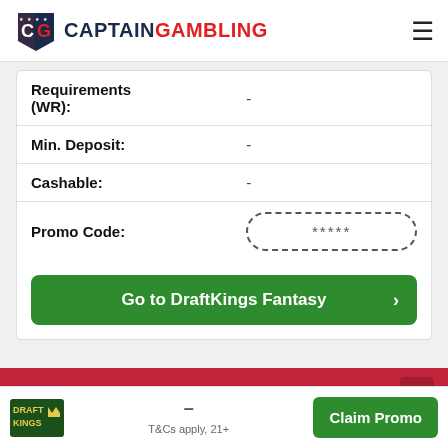Captain Gambling [navigation bar with logo and hamburger menu]
| Field | Value |
| --- | --- |
| Requirements (WR): | - |
| Min. Deposit: | - |
| Cashable: | - |
| Promo Code: | ***** |
Go to DraftKings Fantasy >
More Articles Related to DraftKings Fantasy
DraftKings logo | - | T&Cs apply, 21+ | Claim Promo